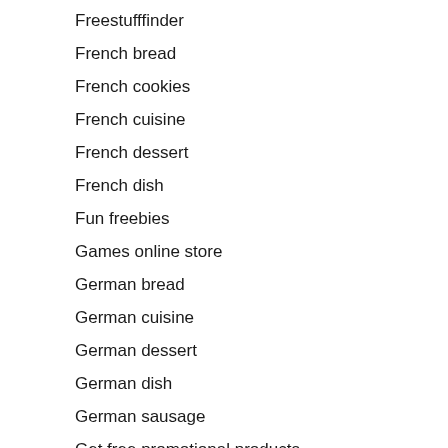Freestufffinder
French bread
French cookies
French cuisine
French dessert
French dish
Fun freebies
Games online store
German bread
German cuisine
German dessert
German dish
German sausage
Get free promotional products